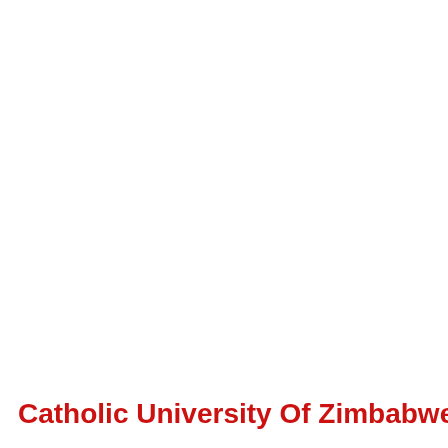Catholic University Of Zimbabwe